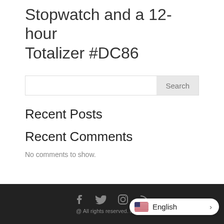Stopwatch and a 12-hour Totalizer #DC86
Recent Posts
Recent Comments
No comments to show.
@ All rights reserved. mens...